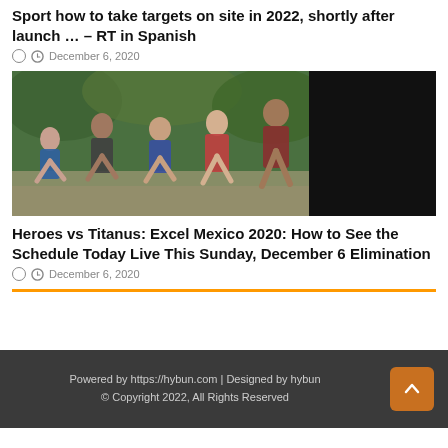Sport how to take targets on site in 2022, shortly after launch … – RT in Spanish
December 6, 2020
[Figure (photo): Five athletes in muddy sports attire standing outdoors near water, leaning forward in athletic stance. Right portion of image is black.]
Heroes vs Titanus: Excel Mexico 2020: How to See the Schedule Today Live This Sunday, December 6 Elimination
December 6, 2020
Powered by https://hybun.com | Designed by hybun
© Copyright 2022, All Rights Reserved